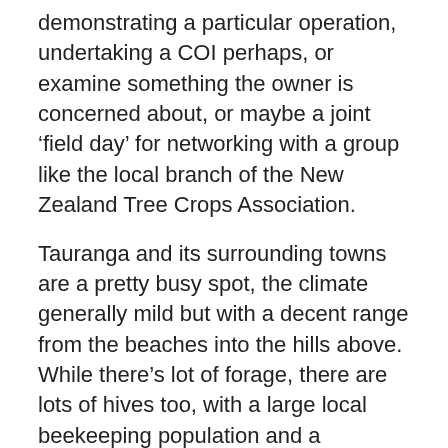demonstrating a particular operation, undertaking a COI perhaps, or examine something the owner is concerned about, or maybe a joint ‘field day’ for networking with a group like the local branch of the New Zealand Tree Crops Association.
Tauranga and its surrounding towns are a pretty busy spot, the climate generally mild but with a decent range from the beaches into the hills above. While there’s lot of forage, there are lots of hives too, with a large local beekeeping population and a significant annual seasonal import of something like 80,000 hives for four months of pollination. It can be challenging.